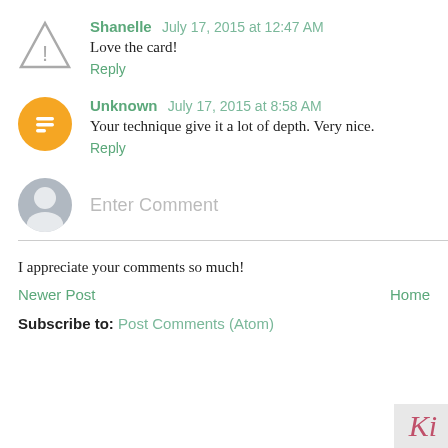Shanelle July 17, 2015 at 12:47 AM
Love the card!
Reply
Unknown July 17, 2015 at 8:58 AM
Your technique give it a lot of depth. Very nice.
Reply
Enter Comment
I appreciate your comments so much!
Newer Post
Home
Subscribe to: Post Comments (Atom)